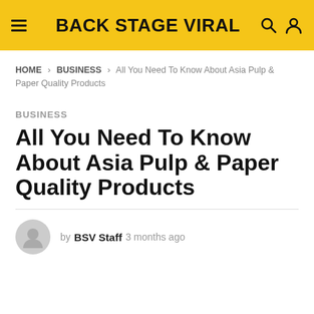BACK STAGE VIRAL
HOME > BUSINESS > All You Need To Know About Asia Pulp & Paper Quality Products
BUSINESS
All You Need To Know About Asia Pulp & Paper Quality Products
by BSV Staff 3 months ago